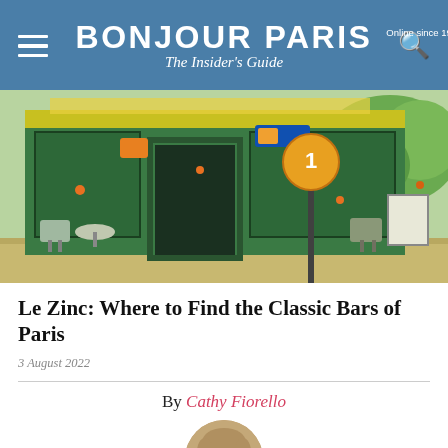BONJOUR PARIS — The Insider's Guide — Online since 1995
[Figure (photo): Painted/illustrated exterior of a classic Parisian café bar with green façade, chairs outside, a street sign, and trees in the background]
Le Zinc: Where to Find the Classic Bars of Paris
3 August 2022
By Cathy Fiorello
[Figure (photo): Circular headshot portrait of author Cathy Fiorello, a woman with short light brown hair wearing glasses, smiling]